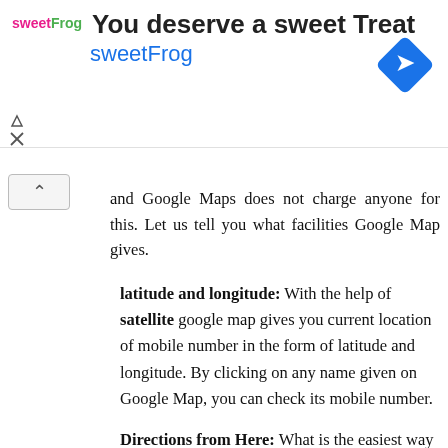[Figure (infographic): sweetFrog advertisement banner with logo, title 'You deserve a sweet Treat', subtitle 'sweetFrog', navigation arrow diamond icon, and close/skip controls]
and Google Maps does not charge anyone for this. Let us tell you what facilities Google Map gives.
latitude and longitude: With the help of satellite google map gives you current location of mobile number in the form of latitude and longitude. By clicking on any name given on Google Map, you can check its mobile number.
Directions from Here: What is the easiest way to reach you from the location you searched on Google Maps.